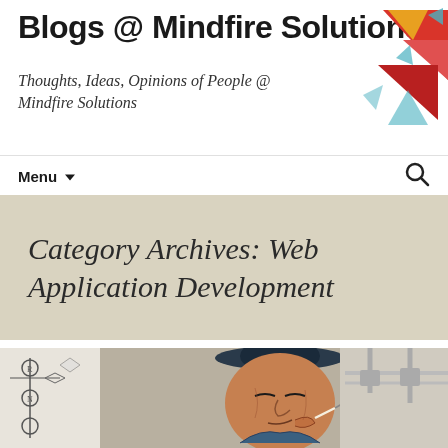Blogs @ Mindfire Solutions
Thoughts, Ideas, Opinions of People @ Mindfire Solutions
[Figure (logo): Geometric abstract logo made of colorful triangles and shapes in red, yellow, blue on top right corner]
Menu ▼
Category Archives: Web Application Development
[Figure (photo): Photo of a graffiti-style mural portrait of a person wearing a hat, holding something, painted in detailed street art style; partially cropped engineering/network diagram on the left side; industrial ceiling visible on the right side]